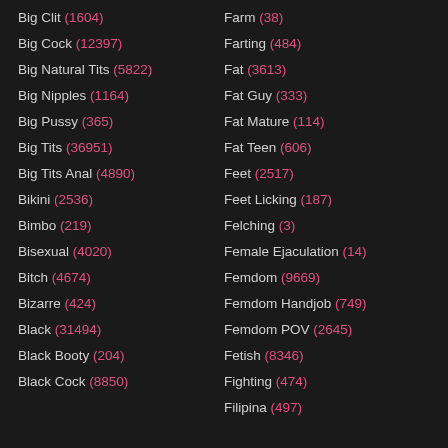Big Clit (1604)
Big Cock (12397)
Big Natural Tits (5822)
Big Nipples (1164)
Big Pussy (365)
Big Tits (36951)
Big Tits Anal (4890)
Bikini (2536)
Bimbo (219)
Bisexual (4020)
Bitch (4674)
Bizarre (424)
Black (31494)
Black Booty (204)
Black Cock (8850)
Farm (38)
Farting (484)
Fat (3613)
Fat Guy (333)
Fat Mature (114)
Fat Teen (606)
Feet (2517)
Feet Licking (187)
Felching (3)
Female Ejaculation (14)
Femdom (9669)
Femdom Handjob (749)
Femdom POV (2645)
Fetish (8346)
Fighting (474)
Filipina (497)